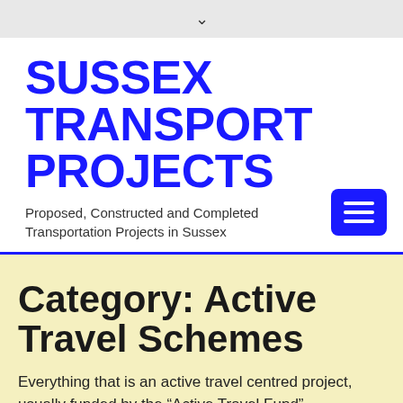[Figure (other): Top navigation bar with chevron/down arrow icon on grey background]
SUSSEX TRANSPORT PROJECTS
Proposed, Constructed and Completed Transportation Projects in Sussex
[Figure (other): Blue hamburger menu icon button]
Category: Active Travel Schemes
Everything that is an active travel centred project, usually funded by the “Active Travel Fund”